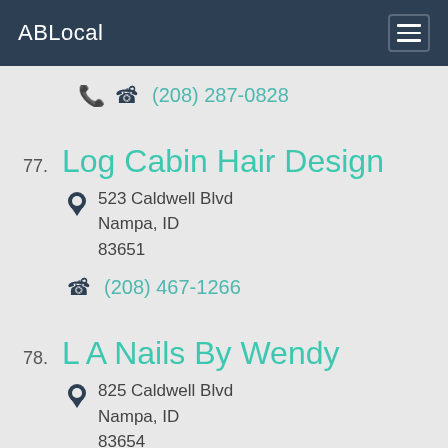ABLocal
(208) 287-0828
77. Log Cabin Hair Design
523 Caldwell Blvd
Nampa, ID
83651
(208) 467-1266
78. L A Nails By Wendy
825 Caldwell Blvd
Nampa, ID
83654